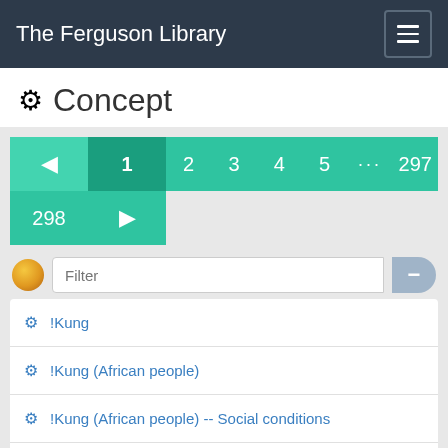The Ferguson Library
Concept
[Figure (screenshot): Pagination control showing pages 1 through 5, ..., 297, 298 with previous/next arrows and a filter input box]
!Kung
!Kung (African people)
!Kung (African people) -- Social conditions
!Kung (African people) -- Social life and cumstoms